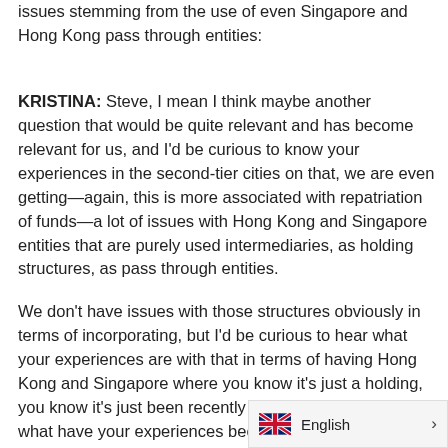issues stemming from the use of even Singapore and Hong Kong pass through entities:
KRISTINA: Steve, I mean I think maybe another question that would be quite relevant and has become relevant for us, and I'd be curious to know your experiences in the second-tier cities on that, we are even getting—again, this is more associated with repatriation of funds—a lot of issues with Hong Kong and Singapore entities that are purely used intermediaries, as holding structures, as pass through entities.
We don't have issues with those structures obviously in terms of incorporating, but I'd be curious to hear what your experiences are with that in terms of having Hong Kong and Singapore where you know it's just a holding, you know it's just been recently set up. Or even Grace, what have your experiences bee